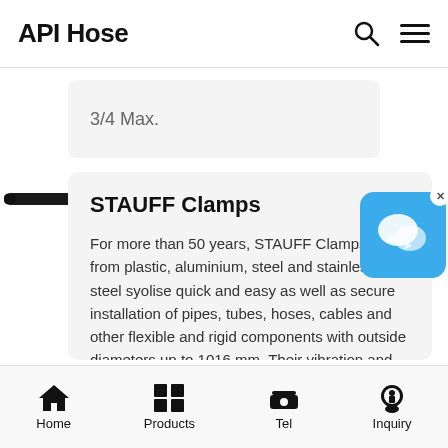API Hose
[Figure (screenshot): Partial product card cut off at top showing '3/4 Max.' text]
[Figure (photo): Black hose/tube product image on left side]
STAUFF Clamps
For more than 50 years, STAUFF Clamps made from plastic, aluminium, steel and stainless steel syolise quick and easy as well as secure installation of pipes, tubes, hoses, cables and other flexible and rigid components with outside diameters up to 1016 mm. Their vibration and noise reducing features are appreciated as being an important contribution to environmental ...
[Figure (illustration): Blue chat app icon with speech bubble, with X close button]
Home   Products   Tel   Inquiry